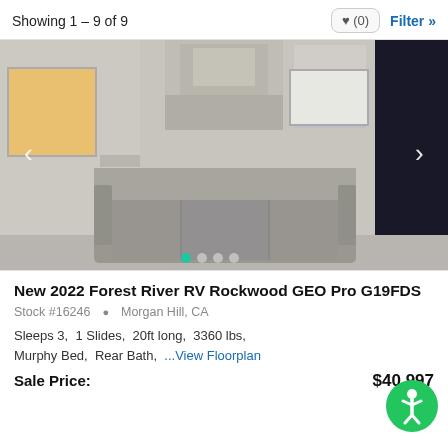Showing 1 – 9 of 9
[Figure (photo): Interior photo of a New 2022 Forest River RV Rockwood GEO Pro G19FDS showing a gray sofa and RV interior with cabinetry and windows. Navigation arrows on left and right. Four dots indicator at bottom with first dot active (teal).]
New 2022 Forest River RV Rockwood GEO Pro G19FDS
Stock #16246  Morgan Hill, CA
Sleeps 3,  1 Slides,  20ft long,  3360 lbs,  Murphy Bed,  Rear Bath,  ...View Floorplan
Sale Price:  $40,997